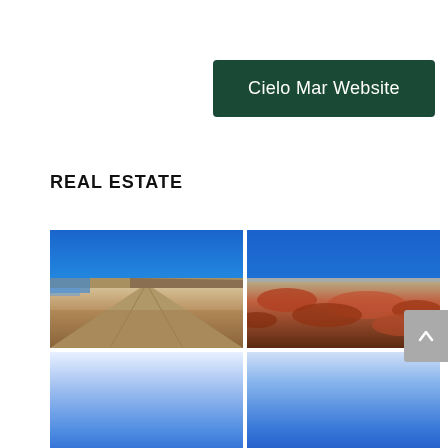Cielo Mar Website
REAL ESTATE
[Figure (photo): Two coastal landscape photos side by side: left shows a gravel road along coastline with cliffs; right shows coastal shrubland with red/orange ground cover under deep blue sky. Below are two more photos, both showing blue sky scenes.]